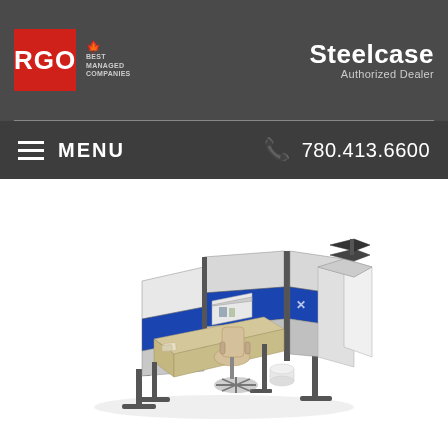RGO | Best Managed Companies | Steelcase Authorized Dealer
MENU | 780.413.6600
[Figure (photo): Office cubicle workstation setup with gray and blue partition panels, a tan/beige office chair, a standing desk with a height-adjustable base, shelving unit, and a small waste bin. The configuration shows an L-shaped or U-shaped arrangement typical of open-plan office furniture by Steelcase.]